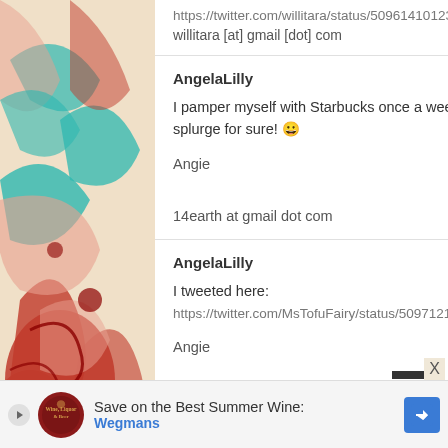https://twitter.com/willitara/status/50961410123736678
willitara [at] gmail [dot] com
AngelaLilly   ↩ REPLY
I pamper myself with Starbucks once a week. It may not seem like much, but it is all that I can afford, so it is a splurge for sure! 😃
Angie

14earth at gmail dot com
AngelaLilly   ↩ REPLY
I tweeted here:
https://twitter.com/MsTofuFairy/status/5097121356358
Angie

14earth at gmail dot com
[Figure (infographic): Ad banner: Save on the Best Summer Wines - Wegmans with logo and arrow button]